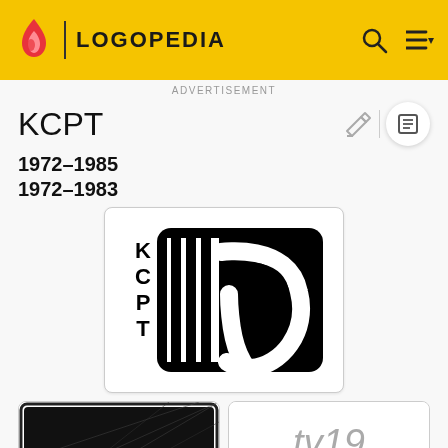LOGOPEDIA
ADVERTISEMENT
KCPT
1972–1985
1972–1983
[Figure (logo): KCPT 19 logo, black and white, featuring stylized '19' with vertical stripes and curved lines inside a rounded rectangle, with KCPT lettered vertically on the left]
[Figure (illustration): Black and white vintage image with text 'SPYING ON SPIDERS' and 'ON A THREAD' visible]
[Figure (logo): TV 19 AUCTION logo in grey stylized text]